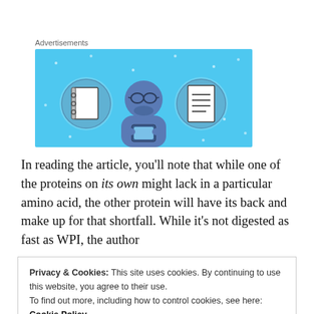Advertisements
[Figure (illustration): Advertisement banner with light blue background showing a cartoon person wearing glasses and holding a device, flanked by two circular icons showing a notebook and a document/list.]
In reading the article, you'll note that while one of the proteins on its own might lack in a particular amino acid, the other protein will have its back and make up for that shortfall. While it's not digested as fast as WPI, the author
Privacy & Cookies: This site uses cookies. By continuing to use this website, you agree to their use.
To find out more, including how to control cookies, see here: Cookie Policy
Close and accept